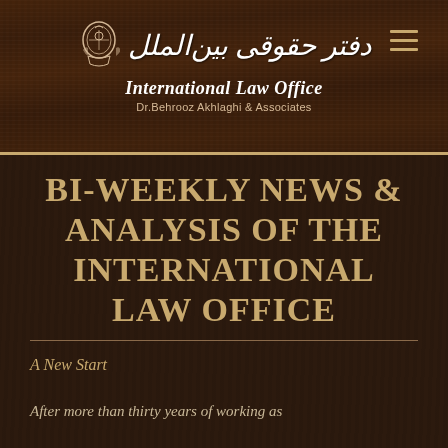[Figure (logo): International Law Office logo with Arabic calligraphy text and emblem above English text reading 'International Law Office, Dr.Behrooz Akhlaghi & Associates']
BI-WEEKLY NEWS & ANALYSIS OF THE INTERNATIONAL LAW OFFICE
A New Start
After more than thirty years of working as